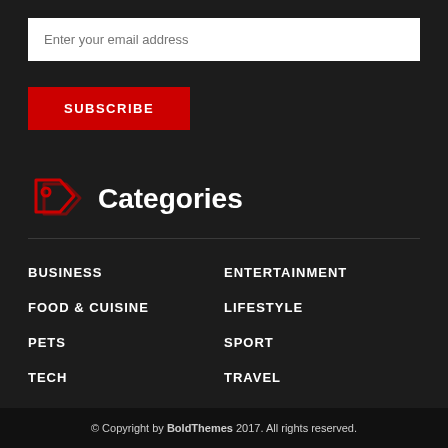Enter your email address
SUBSCRIBE
Categories
BUSINESS
ENTERTAINMENT
FOOD & CUISINE
LIFESTYLE
PETS
SPORT
TECH
TRAVEL
URBAN
© Copyright by BoldThemes 2017. All rights reserved.